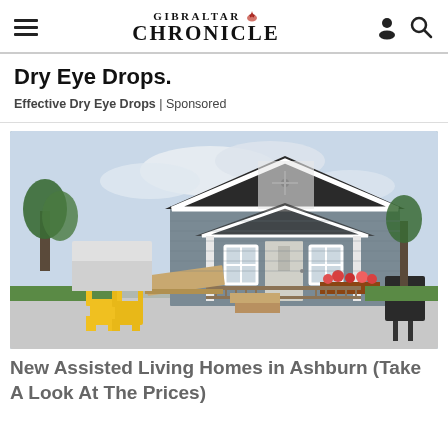GIBRALTAR CHRONICLE
Dry Eye Drops.
Effective Dry Eye Drops | Sponsored
[Figure (photo): Small gray cottage-style home with white trim, wooden wheelchair ramp and steps, flower boxes on porch railing, yellow Adirondack chairs in foreground, grill to the right, trees in background]
New Assisted Living Homes in Ashburn (Take A Look At The Prices)